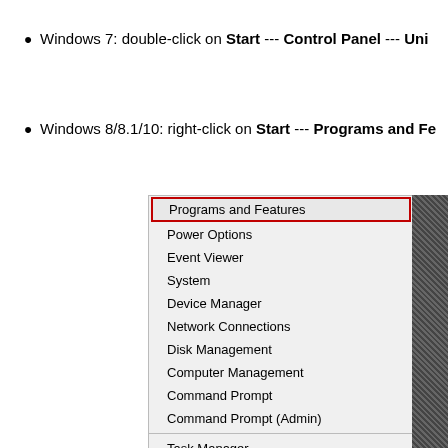Windows 7: double-click on Start --- Control Panel --- Uni...
Windows 8/8.1/10: right-click on Start --- Programs and Fe...
[Figure (screenshot): Windows context menu showing Programs and Features highlighted with a red border, followed by Power Options, Event Viewer, System, Device Manager, Network Connections, Disk Management, Computer Management, Command Prompt, Command Prompt (Admin), then a divider, then Task Manager, Control Panel, File Explorer]